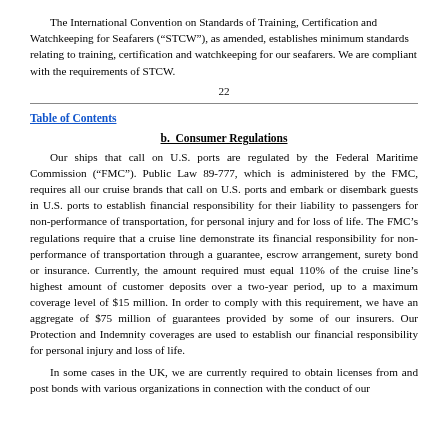The International Convention on Standards of Training, Certification and Watchkeeping for Seafarers (“STCW”), as amended, establishes minimum standards relating to training, certification and watchkeeping for our seafarers. We are compliant with the requirements of STCW.
22
Table of Contents
b. Consumer Regulations
Our ships that call on U.S. ports are regulated by the Federal Maritime Commission (“FMC”). Public Law 89-777, which is administered by the FMC, requires all our cruise brands that call on U.S. ports and embark or disembark guests in U.S. ports to establish financial responsibility for their liability to passengers for non-performance of transportation, for personal injury and for loss of life. The FMC’s regulations require that a cruise line demonstrate its financial responsibility for non-performance of transportation through a guarantee, escrow arrangement, surety bond or insurance. Currently, the amount required must equal 110% of the cruise line’s highest amount of customer deposits over a two-year period, up to a maximum coverage level of $15 million. In order to comply with this requirement, we have an aggregate of $75 million of guarantees provided by some of our insurers. Our Protection and Indemnity coverages are used to establish our financial responsibility for personal injury and loss of life.
In some cases in the UK, we are currently required to obtain licenses from and post bonds with various organizations in connection with the conduct of our